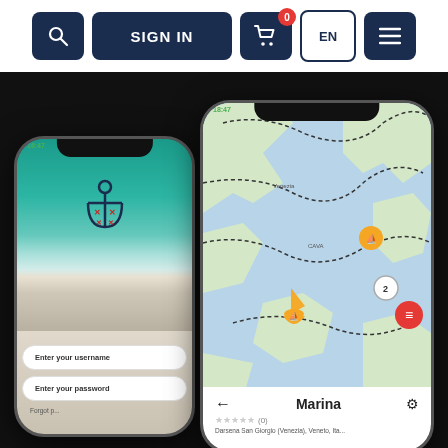Navigation bar with search, SIGN IN, cart (0), EN, and menu buttons
[Figure (screenshot): Two smartphone mockups on a dark background. Left phone shows a marina/boating app login screen with an anchor logo over a beach/ocean image, with username and password input fields. Right phone shows a nautical map view with marina location pins and a Marina detail panel at the bottom.]